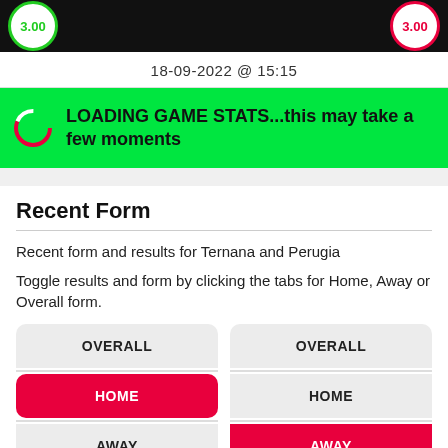[Figure (other): Top bar with dark background showing green odds circle (3.00) on left, center dark area, and red odds circle (3.00) on right]
18-09-2022 @ 15:15
LOADING GAME STATS...this may take a few moments
Recent Form
Recent form and results for Ternana and Perugia
Toggle results and form by clicking the tabs for Home, Away or Overall form.
OVERALL | HOME | AWAY (left column) and OVERALL | HOME | AWAY (right column)